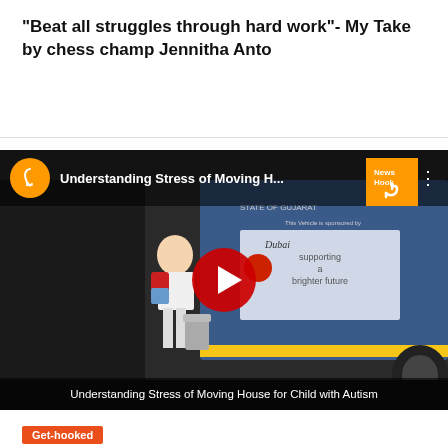“Beat all struggles through hard work”- My Take by chess champ Jennitha Anto
[Figure (screenshot): YouTube video thumbnail showing a child with a backpack standing near a truck. Title overlay reads 'Understanding Stress of Moving H...' with a YouTube-style play button in the center. Channel icon is an orange circle with a hook symbol. Bottom caption reads 'Understanding Stress of Moving House for Child with Autism'.]
Get-hooked
Understanding Stress of Moving House for Child with Autism